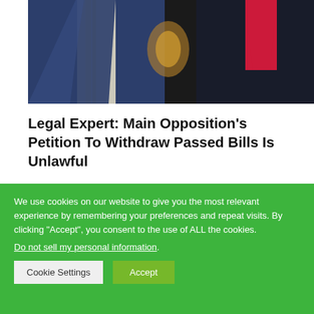[Figure (photo): Photo of people in suits, one with a yellow/white striped tie and blue suit, another with a red tie and dark suit, partial view cropped at top]
Legal Expert: Main Opposition's Petition To Withdraw Passed Bills Is Unlawful
[Figure (photo): Photo of a man with dark complexion, head bowed or looking down, in front of a whiteboard with dots/circles pattern]
We use cookies on our website to give you the most relevant experience by remembering your preferences and repeat visits. By clicking “Accept”, you consent to the use of ALL the cookies.
Do not sell my personal information.